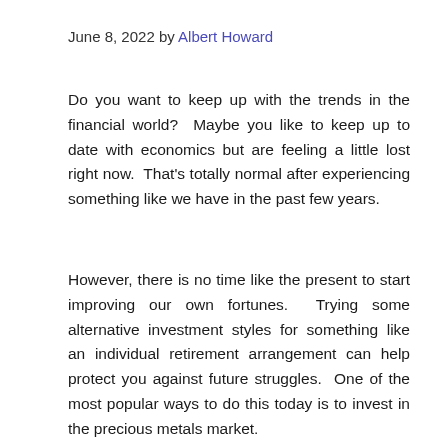June 8, 2022 by Albert Howard
Do you want to keep up with the trends in the financial world?  Maybe you like to keep up to date with economics but are feeling a little lost right now.  That's totally normal after experiencing something like we have in the past few years.
However, there is no time like the present to start improving our own fortunes.  Trying some alternative investment styles for something like an individual retirement arrangement can help protect you against future struggles.  One of the most popular ways to do this today is to invest in the precious metals market.